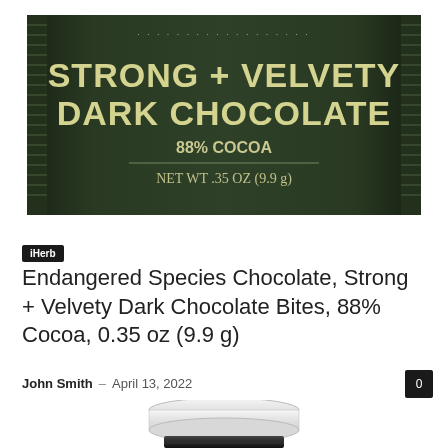[Figure (photo): Dark green chocolate bar wrapper reading 'STRONG + VELVETY DARK CHOCOLATE 88% COCOA NET WT .35 OZ (9.9 g)']
iHerb
Endangered Species Chocolate, Strong + Velvety Dark Chocolate Bites, 88% Cocoa, 0.35 oz (9.9 g)
John Smith – April 13, 2022
[Figure (photo): Bottom portion of a product container showing a white plastic cap on a black cylindrical base]